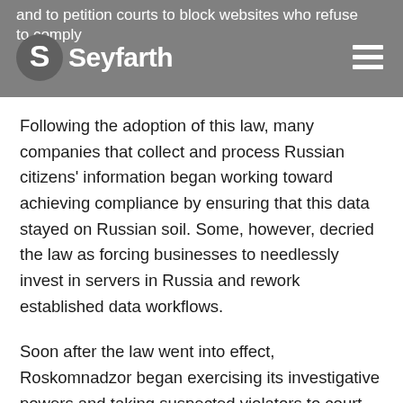and to petition courts to block websites who refuse to comply
[Figure (logo): Seyfarth logo with stylized S circle and wordmark 'Seyfarth' on grey header bar]
Following the adoption of this law, many companies that collect and process Russian citizens' information began working toward achieving compliance by ensuring that this data stayed on Russian soil. Some, however, decried the law as forcing businesses to needlessly invest in servers in Russia and rework established data workflows.
Soon after the law went into effect, Roskomnadzor began exercising its investigative powers and taking suspected violators to court. To keep track of the adjudicated violators, Roskomnadzor created a special registry of websites marked for blocking in case of continued noncompliance following the